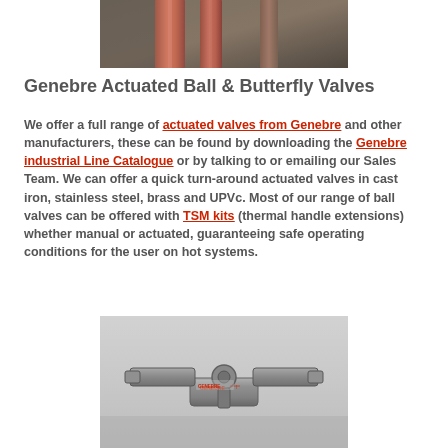[Figure (photo): Industrial pipe installation photo cropped at top]
Genebre Actuated Ball & Butterfly Valves
We offer a full range of actuated valves from Genebre and other manufacturers, these can be found by downloading the Genebre industrial Line Catalogue or by talking to or emailing our Sales Team. We can offer a quick turn-around actuated valves in cast iron, stainless steel, brass and UPVc. Most of our range of ball valves can be offered with TSM kits (thermal handle extensions) whether manual or actuated, guaranteeing safe operating conditions for the user on hot systems.
[Figure (photo): Close-up photo of a Genebre valve/actuator component — metal valve handle and body]